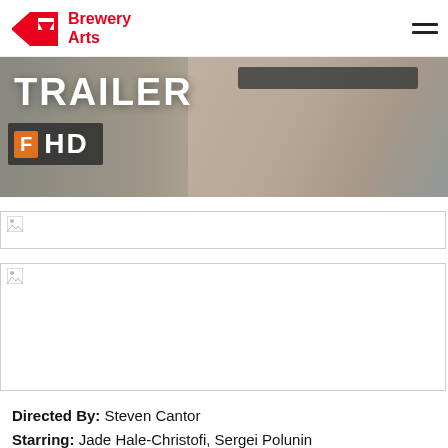[Figure (logo): Brewery Arts logo with red B and A geometric shapes, red bold text 'Brewery Arts', and hamburger menu icon on the right]
[Figure (photo): Movie trailer banner showing 'TRAILER' text in large white bold letters, an orange 'F' badge with 'HD' text on dark background, and a close-up photo of a person's face with dark sunglasses resting their chin on their hand]
[Figure (photo): Broken/missing image placeholder (small)]
[Figure (photo): Broken/missing image placeholder (large)]
Directed By: Steven Cantor
Starring: Jade Hale-Christofi, Sergei Polunin